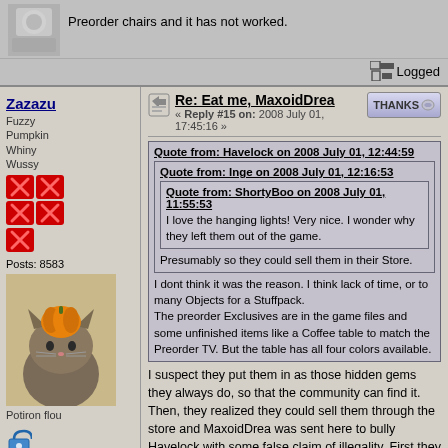Preorder chairs and it has not worked.
Logged
Zazazu
Fuzzy Pumpkin Whiny Wussy
Posts: 8583
Potiron flou
Re: Eat me, MaxoidDrea
« Reply #15 on: 2008 July 01, 17:45:16 »
Quote from: Havelock on 2008 July 01, 12:44:59
Quote from: Inge on 2008 July 01, 12:16:53
Quote from: ShortyBoo on 2008 July 01, 11:55:53
I love the hanging lights! Very nice. I wonder why they left them out of the game.
Presumably so they could sell them in their Store.
I dont think it was the reason. I think lack of time, or to many Objects for a Stuffpack.
The preorder Exclusives are in the game files and some unfinished items like a Coffee table to match the Preorder TV. But the table has all four colors available.
I suspect they put them in as those hidden gems they always do, so that the community can find it. Then, they realized they could sell them through the store and MaxoidDrea was sent here to bully Havelock with some false claim of illegality. First they start up with SecuROM, now they're channeling TSR. Lovely.
Logged